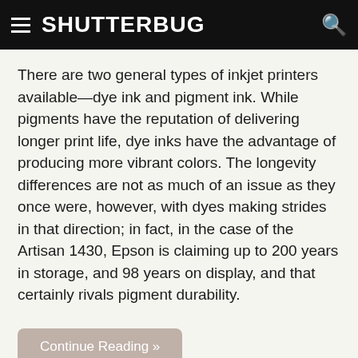SHUTTERBUG
There are two general types of inkjet printers available—dye ink and pigment ink. While pigments have the reputation of delivering longer print life, dye inks have the advantage of producing more vibrant colors. The longevity differences are not as much of an issue as they once were, however, with dyes making strides in that direction; in fact, in the case of the Artisan 1430, Epson is claiming up to 200 years in storage, and 98 years on display, and that certainly rivals pigment durability.
Continue Reading »